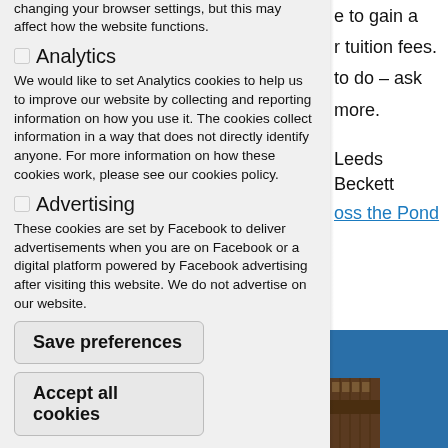changing your browser settings, but this may affect how the website functions.
Analytics
We would like to set Analytics cookies to help us to improve our website by collecting and reporting information on how you use it. The cookies collect information in a way that does not directly identify anyone. For more information on how these cookies work, please see our cookies policy.
Advertising
These cookies are set by Facebook to deliver advertisements when you are on Facebook or a digital platform powered by Facebook advertising after visiting this website. We do not advertise on our website.
Save preferences
Accept all cookies
e to gain a r tuition fees. to do – ask more.
Leeds Beckett
oss the Pond
[Figure (photo): Partial view of a building exterior with blue sky, partially obscured by the cookie consent overlay panel.]